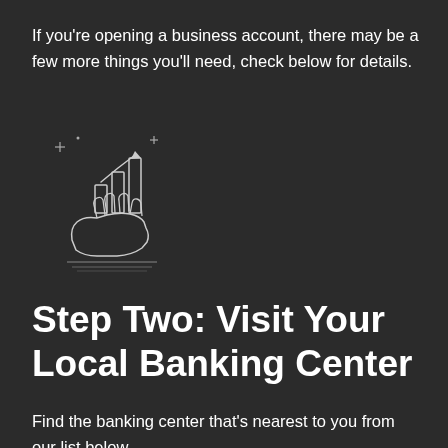If you're opening a business account, there may be a few more things you'll need, check below for details.
[Figure (illustration): White line art icon of a hand holding a bar chart with upward trending graph and sparkle/star decorations, on dark background]
Step Two: Visit Your Local Banking Center
Find the banking center that's nearest to you from our list below.
[Figure (illustration): White line art icon of two gear/cog wheels with sparkle decorations and a horizontal line base, on dark background]